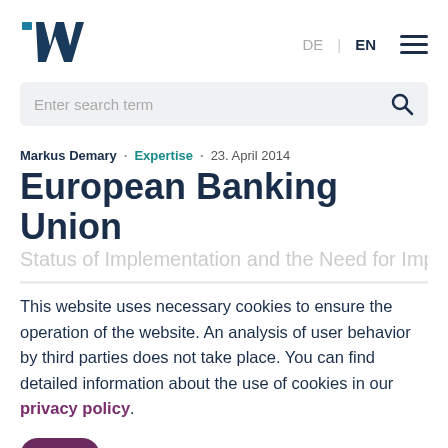[Figure (logo): IW logo — stylized 'IW' letters in dark teal/blue]
DE | EN  [hamburger menu]
Enter search term
Markus Demary · Expertise · 23. April 2014
European Banking Union
Status of Implementation and the Need for Improvement (truncated)
This website uses necessary cookies to ensure the operation of the website. An analysis of user behavior by third parties does not take place. You can find detailed information about the use of cookies in our privacy policy.
OK